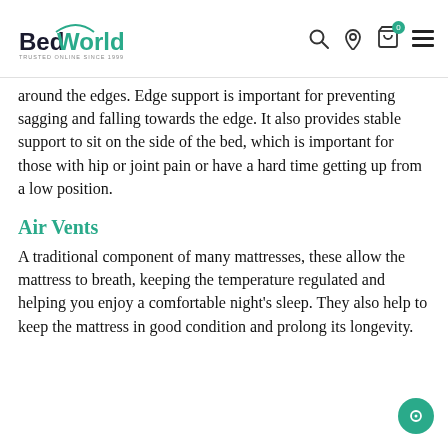BedWorld — Trusted Online Since 1999
around the edges. Edge support is important for preventing sagging and falling towards the edge. It also provides stable support to sit on the side of the bed, which is important for those with hip or joint pain or have a hard time getting up from a low position.
Air Vents
A traditional component of many mattresses, these allow the mattress to breath, keeping the temperature regulated and helping you enjoy a comfortable night's sleep. They also help to keep the mattress in good condition and prolong its longevity.